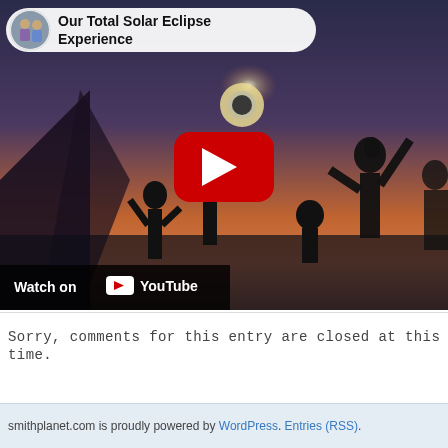[Figure (screenshot): YouTube video embed showing 'Our Total Solar Eclipse Experience' with a twilight scene of silhouetted people watching a solar eclipse, a YouTube play button in the center, and a 'Watch on YouTube' bar at the bottom.]
Sorry, comments for this entry are closed at this time.
smithplanet.com is proudly powered by WordPress. Entries (RSS).